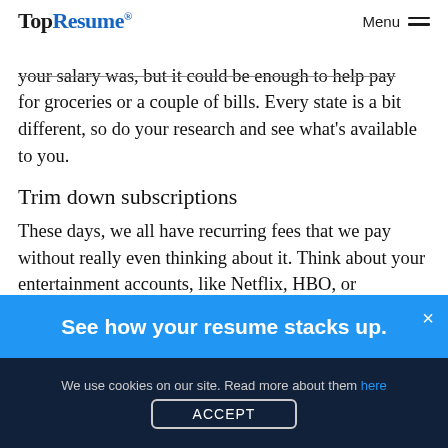TopResume® Menu
your salary was, but it could be enough to help pay for groceries or a couple of bills. Every state is a bit different, so do your research and see what's available to you.
Trim down subscriptions
These days, we all have recurring fees that we pay without really even thinking about it. Think about your entertainment accounts, like Netflix, HBO, or
[Figure (infographic): Blue banner with text 'See how your resume stacks up.' and a close (×) button]
We use cookies on our site. Read more about them here
ACCEPT